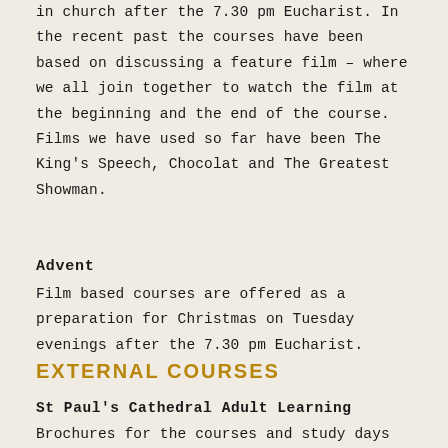in church after the 7.30 pm Eucharist. In the recent past the courses have been based on discussing a feature film – where we all join together to watch the film at the beginning and the end of the course. Films we have used so far have been The King's Speech, Chocolat and The Greatest Showman.
Advent
Film based courses are offered as a preparation for Christmas on Tuesday evenings after the 7.30 pm Eucharist.
EXTERNAL COURSES
St Paul's Cathedral Adult Learning
Brochures for the courses and study days at St